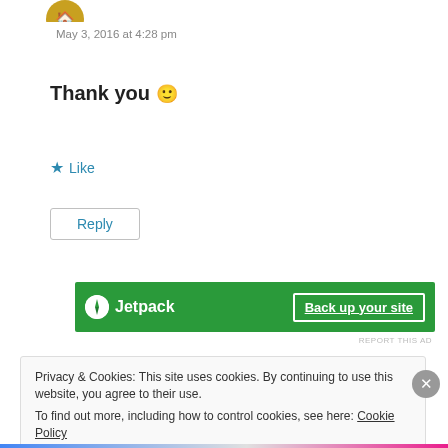May 3, 2016 at 4:28 pm
Thank you 🙂
★ Like
Reply
[Figure (other): Jetpack green advertisement banner with logo on left and 'Back up your site' button on right]
REPORT THIS AD
Privacy & Cookies: This site uses cookies. By continuing to use this website, you agree to their use.
To find out more, including how to control cookies, see here: Cookie Policy
Close and accept